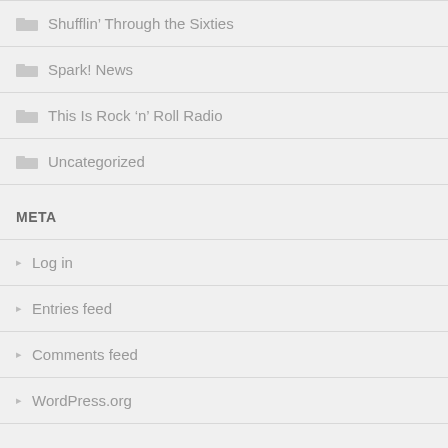Shufflin' Through the Sixties
Spark! News
This Is Rock 'n' Roll Radio
Uncategorized
META
Log in
Entries feed
Comments feed
WordPress.org